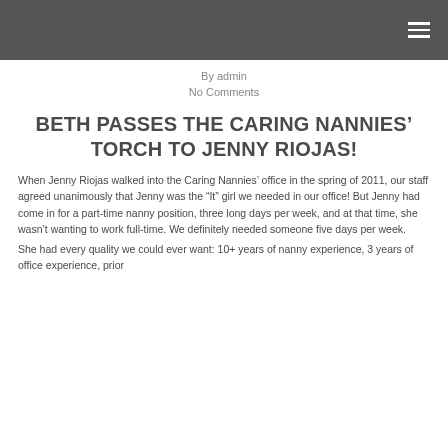By admin
No Comments
BETH PASSES THE CARING NANNIES’ TORCH TO JENNY RIOJAS!
When Jenny Riojas walked into the Caring Nannies’ office in the spring of 2011, our staff agreed unanimously that Jenny was the “It” girl we needed in our office! But Jenny had come in for a part-time nanny position, three long days per week, and at that time, she wasn’t wanting to work full-time. We definitely needed someone five days per week.
She had every quality we could ever want: 10+ years of nanny experience, 3 years of office experience, prior